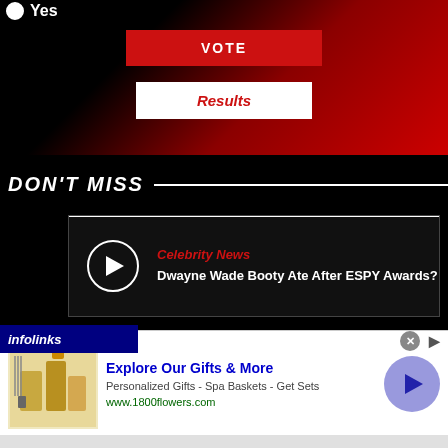Yes
VOTE
Results
DON'T MISS
Celebrity News
Dwayne Wade Booty Ate After ESPY Awards?
infolinks
[Figure (screenshot): Advertisement for 1800flowers.com showing gift products]
Explore Our Gifts & More
Personalized Gifts - Spa Baskets - Get Sets
www.1800flowers.com